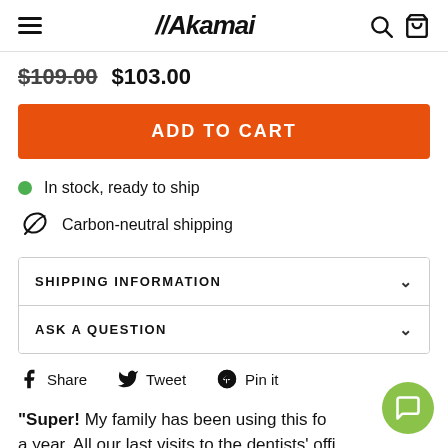//Akamai
$109.00  $103.00
ADD TO CART
In stock, ready to ship
Carbon-neutral shipping
SHIPPING INFORMATION
ASK A QUESTION
Share  Tweet  Pin it
"Super! My family has been using this for a year. All our last visits to the dentists' office